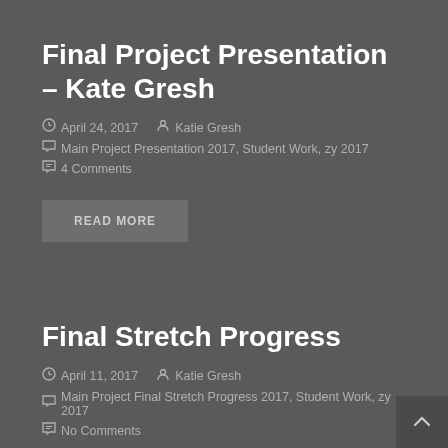Final Project Presentation – Kate Gresh
April 24, 2017   Katie Gresh
Main Project Presentation 2017, Student Work, zy 2017
4 Comments
READ MORE
Final Stretch Progress
April 11, 2017   Katie Gresh
Main Project Final Stretch Progress 2017, Student Work, zy 2017
No Comments